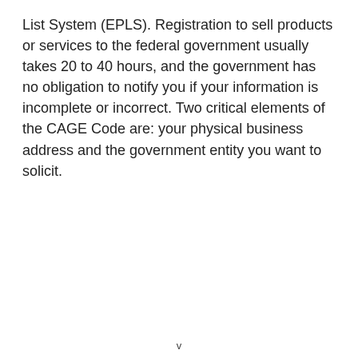List System (EPLS). Registration to sell products or services to the federal government usually takes 20 to 40 hours, and the government has no obligation to notify you if your information is incomplete or incorrect. Two critical elements of the CAGE Code are: your physical business address and the government entity you want to solicit.
v